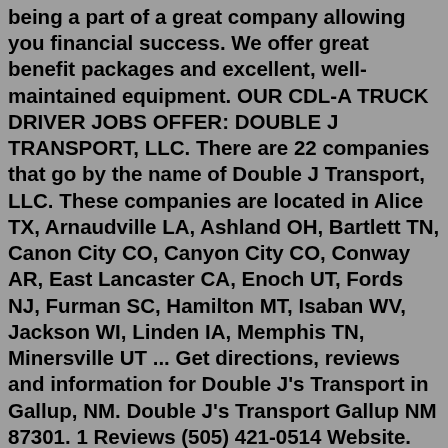being a part of a great company allowing you financial success. We offer great benefit packages and excellent, well-maintained equipment. OUR CDL-A TRUCK DRIVER JOBS OFFER: DOUBLE J TRANSPORT, LLC. There are 22 companies that go by the name of Double J Transport, LLC. These companies are located in Alice TX, Arnaudville LA, Ashland OH, Bartlett TN, Canon City CO, Canyon City CO, Conway AR, East Lancaster CA, Enoch UT, Fords NJ, Furman SC, Hamilton MT, Isaban WV, Jackson WI, Linden IA, Memphis TN, Minersville UT ... Get directions, reviews and information for Double J's Transport in Gallup, NM. Double J's Transport Gallup NM 87301. 1 Reviews (505) 421-0514 Website. Menu & Reservations Make Reservations . Order Online Tickets Tickets See Availability Directions {{::location.tagLine.value.text}} ...Double J Transport, LLC is a Texas Domestic Limited-Liability Company (Llc) filed On June 16, 2011. The company's filing status is listed as Voluntarily Dissolved and its File Number is 0801440998. The